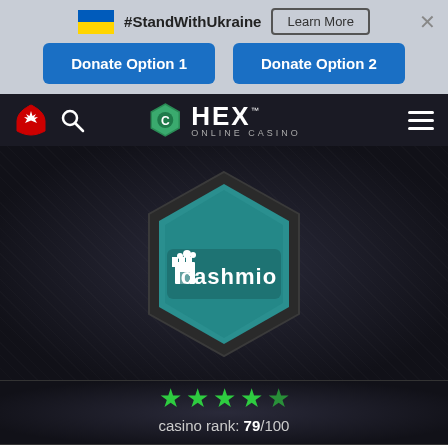[Figure (infographic): Ukraine flag banner with #StandWithUkraine text, Learn More button, close X, and two blue Donate Option 1 and Donate Option 2 buttons]
[Figure (logo): HEX Online Casino navigation bar with Canadian maple leaf icon, search icon, HEX logo in center, and hamburger menu on right]
[Figure (logo): Cashmio casino logo inside a teal hexagon shape on dark background]
casino rank: 79/100
Home › Casinos › Cashmio
CASHMIO CASINO